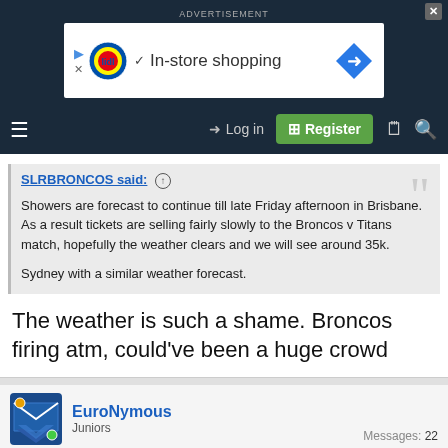ADVERTISEMENT
[Figure (screenshot): Lidl advertisement banner with play button, X button, Lidl logo, checkmark, 'In-store shopping' text, and a blue diamond navigation arrow icon]
≡   →] Log in   [+] Register   📄 🔍
SLRBRONCOS said: ⊕

Showers are forecast to continue till late Friday afternoon in Brisbane. As a result tickets are selling fairly slowly to the Broncos v Titans match, hopefully the weather clears and we will see around 35k.

Sydney with a similar weather forecast.
The weather is such a shame. Broncos firing atm, could've been a huge crowd
EuroNymous
Juniors
Messages: 22